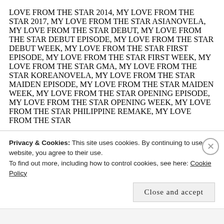LOVE FROM THE STAR 2014, MY LOVE FROM THE STAR 2017, MY LOVE FROM THE STAR ASIANOVELA, MY LOVE FROM THE STAR DEBUT, MY LOVE FROM THE STAR DEBUT EPISODE, MY LOVE FROM THE STAR DEBUT WEEK, MY LOVE FROM THE STAR FIRST EPISODE, MY LOVE FROM THE STAR FIRST WEEK, MY LOVE FROM THE STAR GMA, MY LOVE FROM THE STAR KOREANOVELA, MY LOVE FROM THE STAR MAIDEN EPISODE, MY LOVE FROM THE STAR MAIDEN WEEK, MY LOVE FROM THE STAR OPENING EPISODE, MY LOVE FROM THE STAR OPENING WEEK, MY LOVE FROM THE STAR PHILIPPINE REMAKE, MY LOVE FROM THE STAR
Privacy & Cookies: This site uses cookies. By continuing to use this website, you agree to their use.
To find out more, including how to control cookies, see here: Cookie Policy
Close and accept